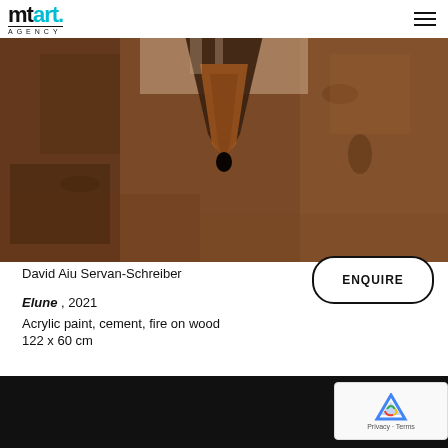mtart. AGENCY
[Figure (photo): Close-up photograph of a textured artwork showing a dark V-shaped crack on a brown/earth-toned surface made of acrylic paint, cement, and fire on wood]
David Aiu Servan-Schreiber
Elune , 2021
Acrylic paint, cement, fire on wood
122 x 60 cm
[Figure (photo): Bottom portion of another artwork or image, showing a dark/black background]